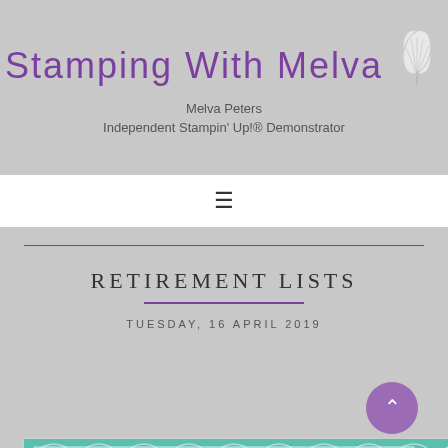Stamping With Melva
Melva Peters
Independent Stampin' Up!® Demonstrator
RETIREMENT LISTS
TUESDAY, 16 APRIL 2019
[Figure (illustration): Decorative card preview with teal geometric pattern at bottom of page]